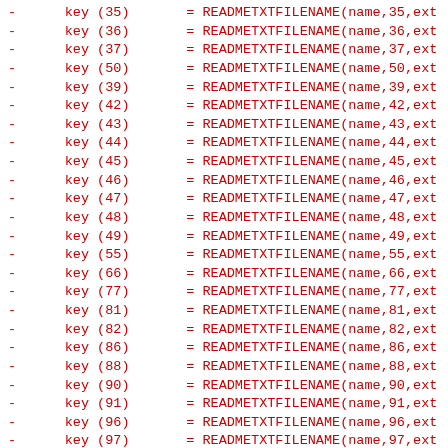Diff/patch code listing showing key mappings being changed from numeric keys (35-99) to named locale keys (en-US, pt, ru, el, pl)